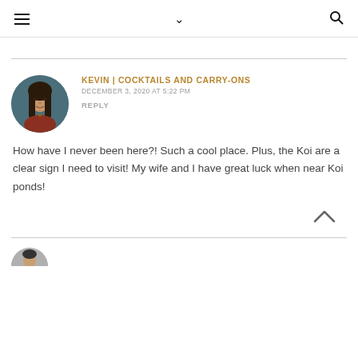≡  ∨  🔍
KEVIN | COCKTAILS AND CARRY-ONS
DECEMBER 3, 2020 AT 5:22 PM
REPLY
How have I never been here?! Such a cool place. Plus, the Koi are a clear sign I need to visit! My wife and I have great luck when near Koi ponds!